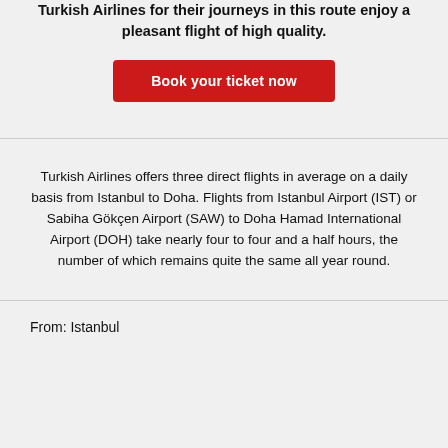Turkish Airlines for their journeys in this route enjoy a pleasant flight of high quality.
Book your ticket now
Turkish Airlines offers three direct flights in average on a daily basis from Istanbul to Doha. Flights from Istanbul Airport (IST) or Sabiha Gökçen Airport (SAW) to Doha Hamad International Airport (DOH) take nearly four to four and a half hours, the number of which remains quite the same all year round.
From: Istanbul